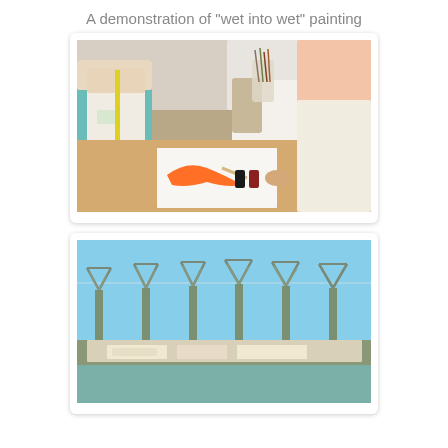A demonstration of "wet into wet" painting
[Figure (photo): Photo of people gathered around a table watching a demonstration of wet-into-wet painting technique. A person is painting an orange brushstroke on white paper. Art supplies including brushes and ink bottles are visible on the table.]
[Figure (photo): Photo of industrial port cranes viewed through glass, with a blue sky and ships visible in the background.]